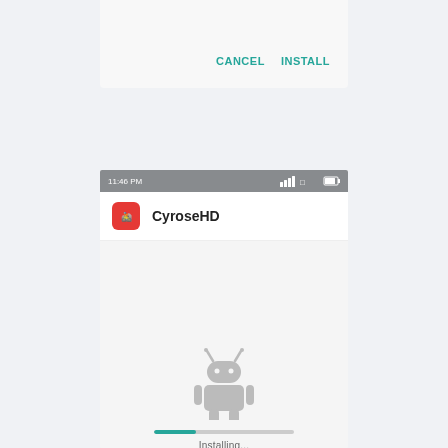[Figure (screenshot): Top portion of an Android app install dialog showing CANCEL and INSTALL buttons in teal color on a light gray background panel]
[Figure (screenshot): Android phone screen showing CyroseHD app installation in progress. Status bar at top shows 11:46 PM and signal/battery icons. App row shows red CyroseHD icon with app name in bold. Lower area shows Android robot logo, a progress bar partially filled in teal, and 'Installing...' text.]